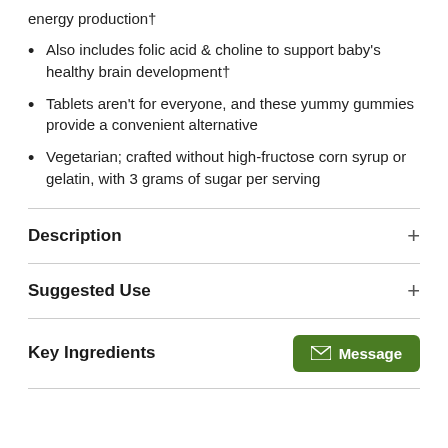energy production†
Also includes folic acid & choline to support baby's healthy brain development†
Tablets aren't for everyone, and these yummy gummies provide a convenient alternative
Vegetarian; crafted without high-fructose corn syrup or gelatin, with 3 grams of sugar per serving
Description
Suggested Use
Key Ingredients